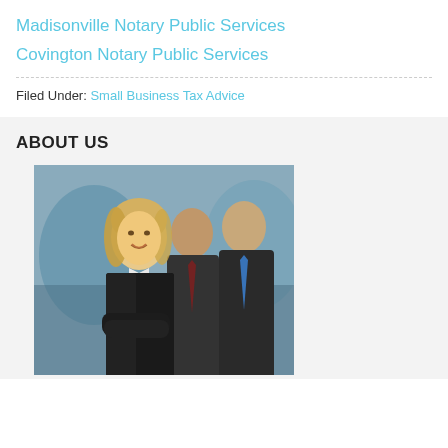Madisonville Notary Public Services
Covington Notary Public Services
Filed Under: Small Business Tax Advice
ABOUT US
[Figure (photo): Three smiling business professionals in dark suits standing together, woman with blonde hair in front with arms crossed, two men behind her.]